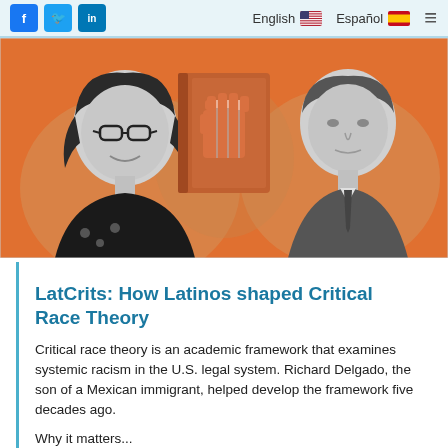f  t  in  |  English 🇺🇸  Español 🇪🇸  ≡
[Figure (illustration): Hero image with orange background showing two people (a woman with glasses on the left and a man on the right) in grayscale with a book featuring a raised fist symbol in the center]
LatCrits: How Latinos shaped Critical Race Theory
Critical race theory is an academic framework that examines systemic racism in the U.S. legal system. Richard Delgado, the son of a Mexican immigrant, helped develop the framework five decades ago.
Why it matters...